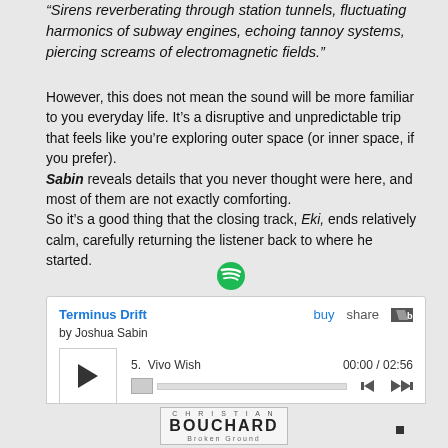“Sirens reverberating through station tunnels, fluctuating harmonics of subway engines, echoing tannoy systems, piercing screams of electromagnetic fields.”
However, this does not mean the sound will be more familiar to you everyday life. It’s a disruptive and unpredictable trip that feels like you’re exploring outer space (or inner space, if you prefer). Sabin reveals details that you never thought were here, and most of them are not exactly comforting. So it’s a good thing that the closing track, Eki, ends relatively calm, carefully returning the listener back to where he started.
[Figure (logo): Spotify green circle logo icon]
[Figure (screenshot): Bandcamp embedded music player showing Terminus Drift by Joshua Sabin, track 5: Vivo Wish, 00:00 / 02:56]
[Figure (logo): Christian Bouchard - Broken Ground logo at bottom of page]